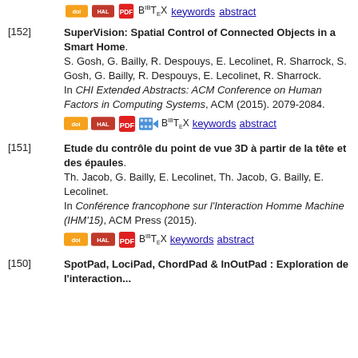[152] SuperVision: Spatial Control of Connected Objects in a Smart Home. S. Gosh, G. Bailly, R. Despouys, E. Lecolinet, R. Sharrock, S. Gosh, G. Bailly, R. Despouys, E. Lecolinet, R. Sharrock. In CHI Extended Abstracts: ACM Conference on Human Factors in Computing Systems, ACM (2015). 2079-2084.
[151] Etude du contrôle du point de vue 3D à partir de la tête et des épaules. Th. Jacob, G. Bailly, E. Lecolinet, Th. Jacob, G. Bailly, E. Lecolinet. In Conférence francophone sur l'Interaction Homme Machine (IHM'15), ACM Press (2015).
[150] SpotPad, LociPad, ChordPad & InOutPad : Exploration de l'interaction...